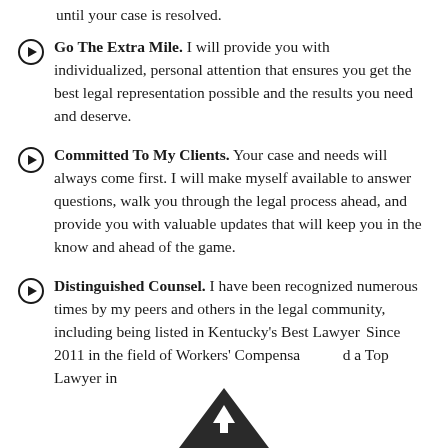until your case is resolved.
Go The Extra Mile. I will provide you with individualized, personal attention that ensures you get the best legal representation possible and the results you need and deserve.
Committed To My Clients. Your case and needs will always come first. I will make myself available to answer questions, walk you through the legal process ahead, and provide you with valuable updates that will keep you in the know and ahead of the game.
Distinguished Counsel. I have been recognized numerous times by my peers and others in the legal community, including being listed in Kentucky's Best Lawyers Since 2011 in the field of Workers' Compensation and a Top Lawyer in